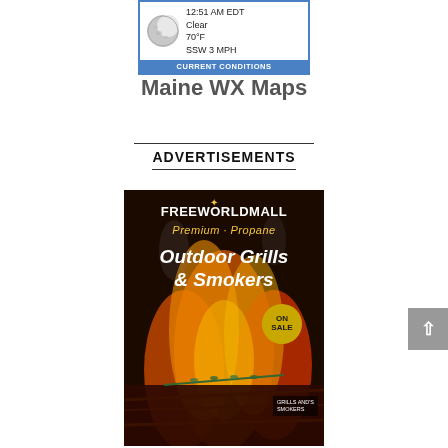[Figure (screenshot): Weather widget showing moon icon, 12:51 AM EDT, Clear, 70°F, SSW 3 MPH, CURRENT CONDITIONS footer in blue]
Maine WX Maps
ADVERTISEMENTS
[Figure (photo): FREEWORLDMALL advertisement banner for Premium Propane Outdoor Grills & Smokers ON SALE, with fire and grilled meat background]